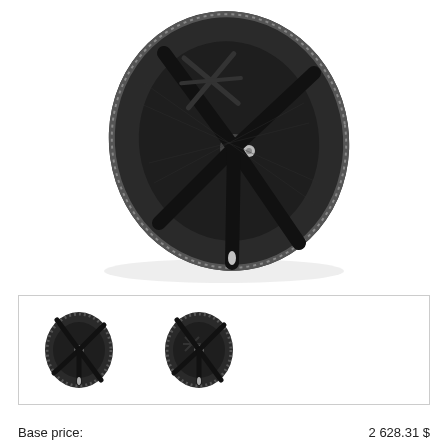[Figure (photo): Large carbon fiber disc wheel (triathlon/time trial bicycle wheel) shown at an angle, dark matte finish with cross-spoke pattern and hub visible]
[Figure (photo): Thumbnail row with two small images of the same carbon disc wheel from different angles, displayed side by side in a bordered box]
Base price:	2 628.31 $